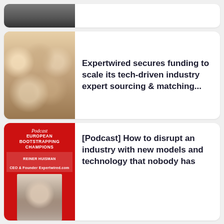[Figure (photo): Partial view of a photo at the top of the page, partially cropped]
Expertwired secures funding to scale its tech-driven industry expert sourcing & matching...
[Figure (photo): Group photo of people celebrating, colorful confetti]
[Figure (photo): Podcast cover art: red background with text 'Podcast European Bootstrapping Champions' featuring Reiner Huisman, CEO & Founder Expertwired.com]
[Podcast] How to disrupt an industry with new models and technology that nobody has